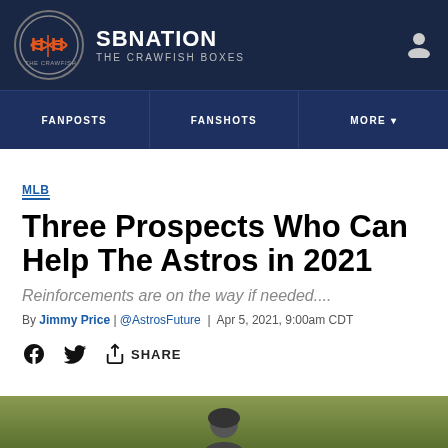SB NATION | THE CRAWFISH BOXES
FANPOSTS | FANSHOTS | MORE
MLB
Three Prospects Who Can Help The Astros in 2021
Reinforcements are on the way if needed....
By Jimmy Price | @AstrosFuture | Apr 5, 2021, 9:00am CDT
SHARE
[Figure (photo): Bottom strip showing a baseball player on a green field background]